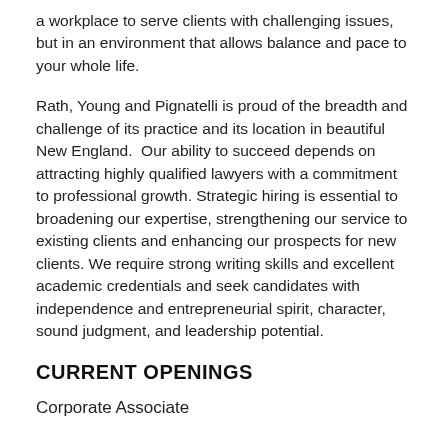a workplace to serve clients with challenging issues, but in an environment that allows balance and pace to your whole life.
Rath, Young and Pignatelli is proud of the breadth and challenge of its practice and its location in beautiful New England.  Our ability to succeed depends on attracting highly qualified lawyers with a commitment to professional growth. Strategic hiring is essential to broadening our expertise, strengthening our service to existing clients and enhancing our prospects for new clients. We require strong writing skills and excellent academic credentials and seek candidates with independence and entrepreneurial spirit, character, sound judgment, and leadership potential.
CURRENT OPENINGS
Corporate Associate